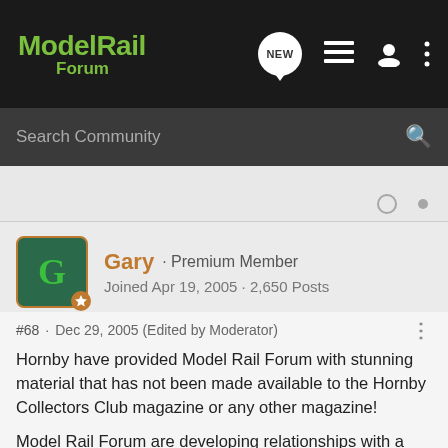Model Rail Forum
Search Community
Gary · Premium Member
Joined Apr 19, 2005 · 2,650 Posts
#68 · Dec 29, 2005 (Edited by Moderator)
Hornby have provided Model Rail Forum with stunning material that has not been made available to the Hornby Collectors Club magazine or any other magazine!
Model Rail Forum are developing relationships with a number of manufacturers and this is based on trust.